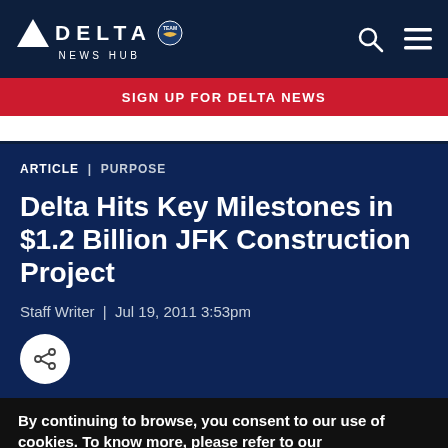DELTA NEWS HUB
SIGN UP FOR DELTA NEWS
ARTICLE | PURPOSE
Delta Hits Key Milestones in $1.2 Billion JFK Construction Project
Staff Writer  |  Jul 19, 2011 3:53pm
By continuing to browse, you consent to our use of cookies. To know more, please refer to our Cookie and Privacy Policies.